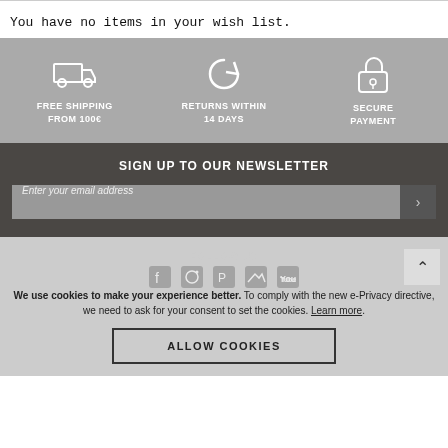You have no items in your wish list.
[Figure (infographic): Three icons with labels: FREE SHIPPING FROM 100€, RETURNS WITHIN 14 DAYS, SECURE PAYMENT]
SIGN UP TO OUR NEWSLETTER
Enter your email address
We use cookies to make your experience better. To comply with the new e-Privacy directive, we need to ask for your consent to set the cookies. Learn more.
ALLOW COOKIES
FOLLOW US